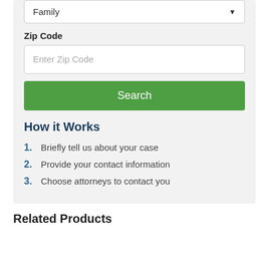Family
Zip Code
Enter Zip Code
Search
How it Works
1. Briefly tell us about your case
2. Provide your contact information
3. Choose attorneys to contact you
Related Products